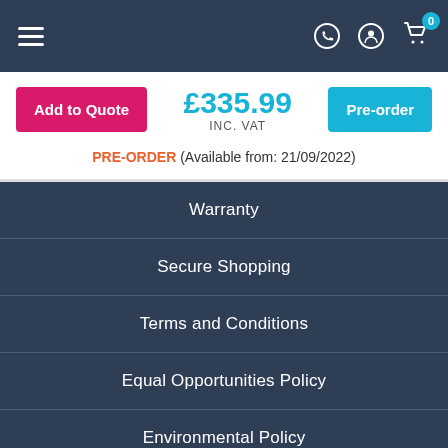Navigation bar with hamburger menu, phone, user, and cart icons (cart: 0)
Add to Quote | £335.99 INC. VAT | Pre-order
PRE-ORDER (Available from: 21/09/2022)
Warranty
Secure Shopping
Terms and Conditions
Equal Opportunities Policy
Environmental Policy
Quality Management Statement
Cookies
Privacy Policy